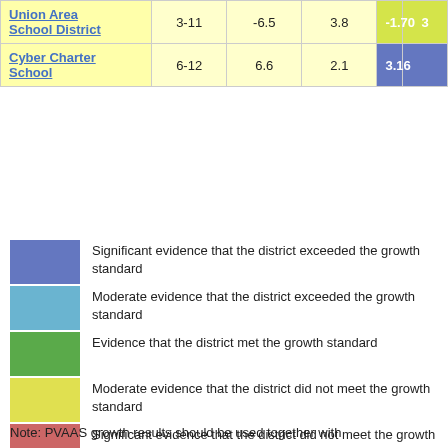| District/School | Grades |  |  |  |
| --- | --- | --- | --- | --- |
| Union Area School District | 3-11 | -6.5 | 3.8 | -1.70 |
| Cyber Charter School | 6-12 | 6.6 | 2.1 | 3.16 |
Significant evidence that the district exceeded the growth standard
Moderate evidence that the district exceeded the growth standard
Evidence that the district met the growth standard
Moderate evidence that the district did not meet the growth standard
Significant evidence that the district did not meet the growth standard
Note: PVAAS growth results should be used together with